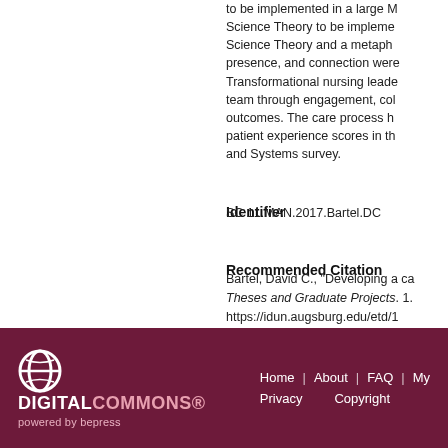to be implemented in a large M... Science Theory to be impleme... Science Theory and a metaph... presence, and connection were... Transformational nursing leade... team through engagement, cob... outcomes. The care process h... patient experience scores in th... and Systems survey.
Identifier
SC 11.MAN.2017.Bartel.DC
Recommended Citation
Bartel, David C., "Developing a ca... Theses and Graduate Projects. 1. https://idun.augsburg.edu/etd/1
[Figure (logo): Digital Commons powered by bepress logo in white and pink on dark maroon background]
Home | About | FAQ | My... Privacy Copyright